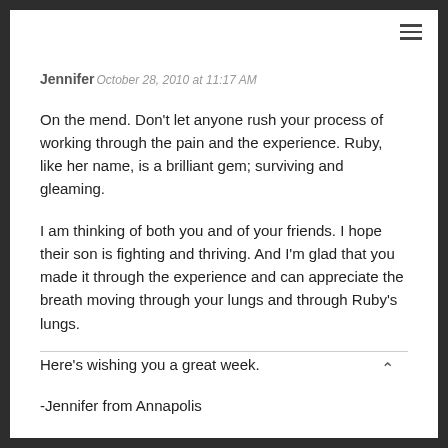Jennifer October 28, 2010 at 11:17 AM
On the mend. Don't let anyone rush your process of working through the pain and the experience. Ruby, like her name, is a brilliant gem; surviving and gleaming.
I am thinking of both you and of your friends. I hope their son is fighting and thriving. And I'm glad that you made it through the experience and can appreciate the breath moving through your lungs and through Ruby's lungs.
Here's wishing you a great week.
-Jennifer from Annapolis